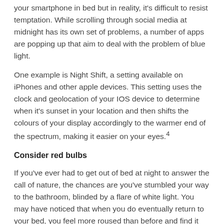your smartphone in bed but in reality, it's difficult to resist temptation. While scrolling through social media at midnight has its own set of problems, a number of apps are popping up that aim to deal with the problem of blue light.
One example is Night Shift, a setting available on iPhones and other apple devices. This setting uses the clock and geolocation of your IOS device to determine when it's sunset in your location and then shifts the colours of your display accordingly to the warmer end of the spectrum, making it easier on your eyes.4
Consider red bulbs
If you've ever had to get out of bed at night to answer the call of nature, the chances are you've stumbled your way to the bathroom, blinded by a flare of white light. You may have noticed that when you do eventually return to your bed, you feel more roused than before and find it difficult to drift off. Fortunately, there are ways to prevent this, and one...